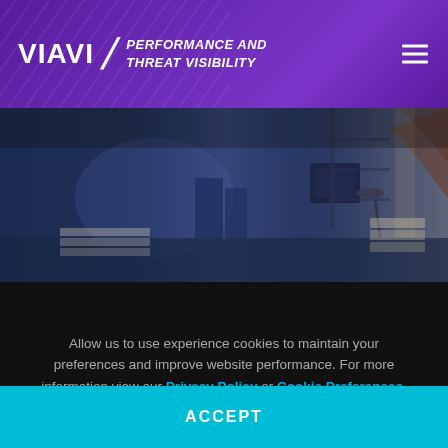VIAVI / PERFORMANCE AND THREAT VISIBILITY
[Figure (photo): Dark-toned office/workspace scene with a person pointing at a screen, desk with monitors, lamp, and shelving in background with blue-dark overlay.]
Allow us to use experience cookies to maintain your preferences and improve website performance. For more information view our Privacy Policy or Cookie Preferences.
ACCEPT